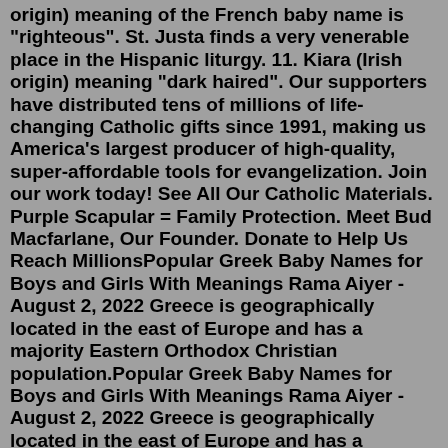origin) meaning of the French baby name is "righteous". St. Justa finds a very venerable place in the Hispanic liturgy. 11. Kiara (Irish origin) meaning "dark haired". Our supporters have distributed tens of millions of life-changing Catholic gifts since 1991, making us America's largest producer of high-quality, super-affordable tools for evangelization. Join our work today! See All Our Catholic Materials. Purple Scapular = Family Protection. Meet Bud Macfarlane, Our Founder. Donate to Help Us Reach MillionsPopular Greek Baby Names for Boys and Girls With Meanings Rama Aiyer - August 2, 2022 Greece is geographically located in the east of Europe and has a majority Eastern Orthodox Christian population.Popular Greek Baby Names for Boys and Girls With Meanings Rama Aiyer - August 2, 2022 Greece is geographically located in the east of Europe and has a majority Eastern Orthodox Christian population.Therese, T (h)eresa. , via Wikimedia Commons. Others that definitely ARE very Catholic, and almost exclusively so, but might be less likely